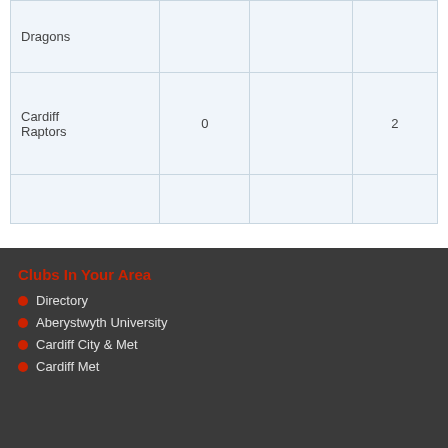| Dragons |  |  |  |
| Cardiff Raptors | 0 |  | 2 |
|  |  |  |  |
Clubs In Your Area
Directory
Aberystwyth University
Cardiff City & Met
Cardiff Met